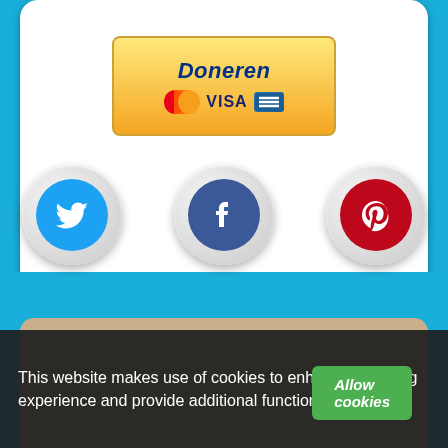[Figure (screenshot): PayPal Doneren (donate) button with Mastercard, Visa, and Amex card logos inside a rounded gold-bordered box]
[Figure (infographic): Three social media icon buttons: Twitter (blue bird), Facebook (blue f), Pinterest (red P) in circular embossed frames]
This website makes use of cookies to enhance browsing experience and provide additional functionality. Details
[Figure (screenshot): Allow cookies green button at bottom right]